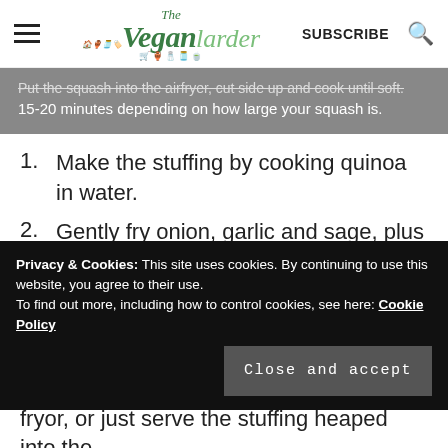The Vegan Larder | SUBSCRIBE
Put the squash into the airfryer, cut side up and cook until soft. 15-20 minutes depending on how large your squash is.
1. Make the stuffing by cooking quinoa in water.
2. Gently fry onion, garlic and sage, plus the pinenuts/seeds.
3. Add the quinoa, white wine and drained chickpeas to the onion and sage and let cook
Privacy & Cookies: This site uses cookies. By continuing to use this website, you agree to their use. To find out more, including how to control cookies, see here: Cookie Policy
fryor, or just serve the stuffing heaped into the